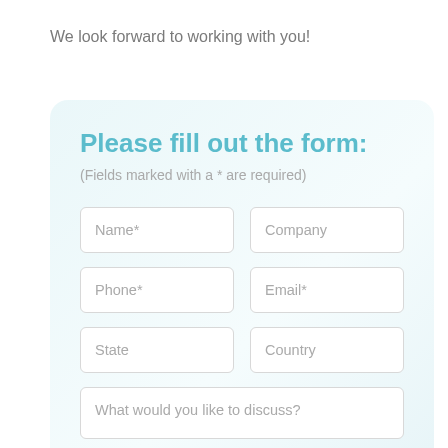We look forward to working with you!
Please fill out the form:
(Fields marked with a * are required)
Name*
Company
Phone*
Email*
State
Country
What would you like to discuss?